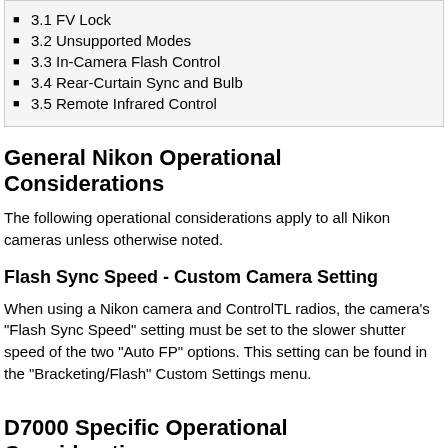3.1 FV Lock
3.2 Unsupported Modes
3.3 In-Camera Flash Control
3.4 Rear-Curtain Sync and Bulb
3.5 Remote Infrared Control
General Nikon Operational Considerations
The following operational considerations apply to all Nikon cameras unless otherwise noted.
Flash Sync Speed - Custom Camera Setting
When using a Nikon camera and ControlTL radios, the camera's "Flash Sync Speed" setting must be set to the slower shutter speed of the two "Auto FP" options. This setting can be found in the "Bracketing/Flash" Custom Settings menu.
D7000 Specific Operational Considerations